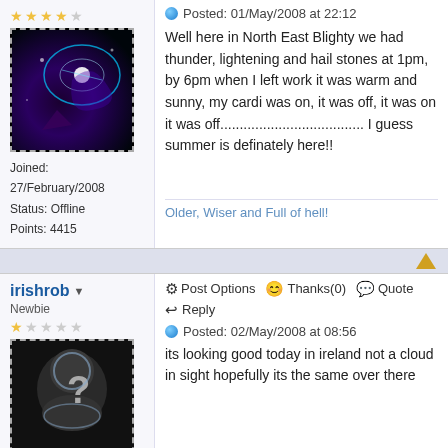[Figure (photo): Avatar image with abstract space/light effect, dashed border, gold stars above]
Joined: 27/February/2008
Status: Offline
Points: 4415
Posted: 01/May/2008 at 22:12
Well here in North East Blighty we had thunder, lightening and hail stones at 1pm, by 6pm when I left work it was warm and sunny, my cardi was on, it was off, it was on it was off..................................... I guess summer is definately here!!
Older, Wiser and Full of hell!
irishrob ▾ Newbie
Post Options   Thanks(0)   Quote
Reply
[Figure (photo): Avatar image of a head silhouette with question mark, black background, dashed border, one gold star]
Posted: 02/May/2008 at 08:56
its looking good today in ireland not a cloud in sight hopefully its the same over there
Joined: 21/January/2008
Status: Offline
Points: 98